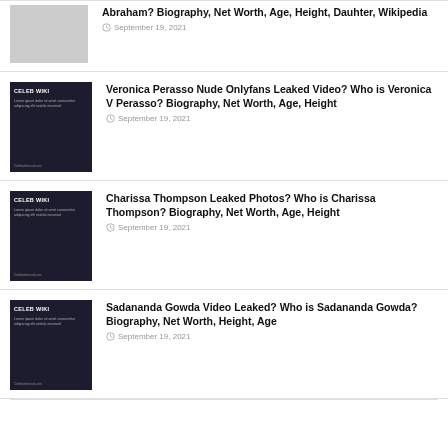[Figure (photo): Light gray thumbnail image placeholder]
Abraham? Biography, Net Worth, Age, Height, Dauhter, Wikipedia
September 19, 2021
[Figure (photo): Dark themed Celeb Wiki thumbnail image]
Veronica Perasso Nude Onlyfans Leaked Video? Who is Veronica V Perasso? Biography, Net Worth, Age, Height
September 19, 2021
[Figure (photo): Dark themed Celeb Wiki thumbnail image]
Charissa Thompson Leaked Photos? Who is Charissa Thompson? Biography, Net Worth, Age, Height
September 19, 2021
[Figure (photo): Dark themed Celeb Wiki thumbnail image]
Sadananda Gowda Video Leaked? Who is Sadananda Gowda? Biography, Net Worth, Height, Age
September 19, 2021